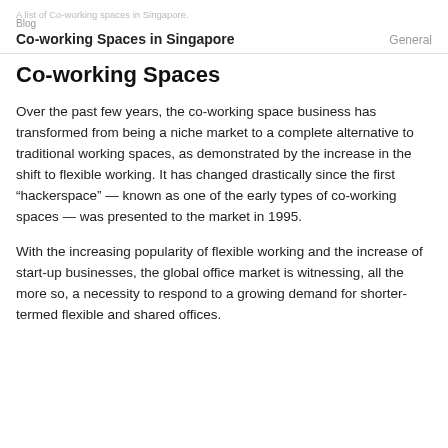A list of Co-working spaces in Singapore.
Blog
Co-working Spaces in Singapore
General
Co-working Spaces
Over the past few years, the co-working space business has transformed from being a niche market to a complete alternative to traditional working spaces, as demonstrated by the increase in the shift to flexible working. It has changed drastically since the first “hackerspace” — known as one of the early types of co-working spaces — was presented to the market in 1995.
With the increasing popularity of flexible working and the increase of start-up businesses, the global office market is witnessing, all the more so, a necessity to respond to a growing demand for shorter-termed flexible and shared offices.